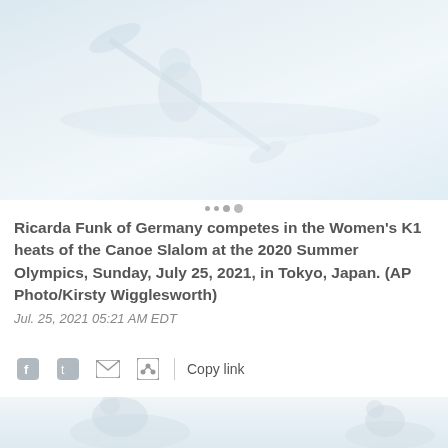[Figure (photo): Ricarda Funk of Germany competing in the Women's K1 heats of the Canoe Slalom at the 2020 Summer Olympics, Tokyo, Japan. Faded/washed out photograph showing paddler with oar above water.]
Ricarda Funk of Germany competes in the Women's K1 heats of the Canoe Slalom at the 2020 Summer Olympics, Sunday, July 25, 2021, in Tokyo, Japan. (AP Photo/Kirsty Wigglesworth)
Jul. 25, 2021 05:21 AM EDT
[Figure (photo): Second partially visible photograph at the bottom of the page, showing faint figures, very faded.]